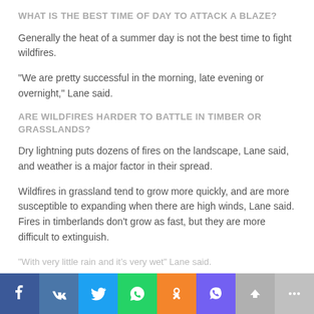WHAT IS THE BEST TIME OF DAY TO ATTACK A BLAZE?
Generally the heat of a summer day is not the best time to fight wildfires.
“We are pretty successful in the morning, late evening or overnight,” Lane said.
ARE WILDFIRES HARDER TO BATTLE IN TIMBER OR GRASSLANDS?
Dry lightning puts dozens of fires on the landscape, Lane said, and weather is a major factor in their spread.
Wildfires in grassland tend to grow more quickly, and are more susceptible to expanding when there are high winds, Lane said. Fires in timberlands don’t grow as fast, but they are more difficult to extinguish.
“With very little rain and it’s very wet” Lane said.